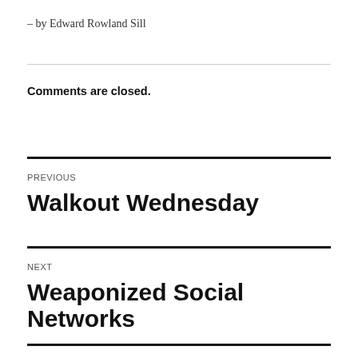– by Edward Rowland Sill
Comments are closed.
PREVIOUS
Walkout Wednesday
NEXT
Weaponized Social Networks